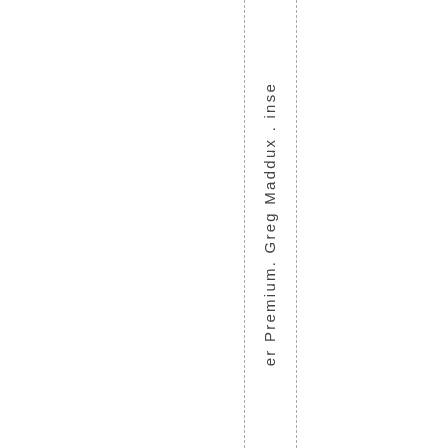er Premium. Greg Maddux . ins e